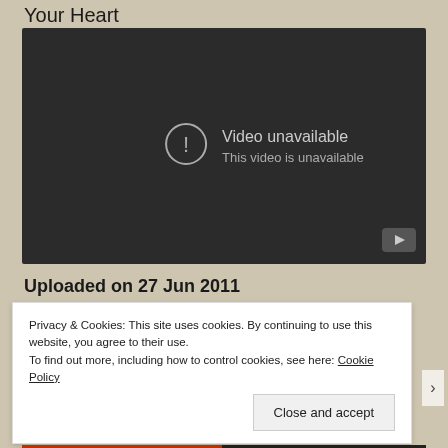Your Heart
[Figure (screenshot): Embedded video player showing 'Video unavailable - This video is unavailable' message on dark background with YouTube logo]
Uploaded on 27 Jun 2011
Privacy & Cookies: This site uses cookies. By continuing to use this website, you agree to their use.
To find out more, including how to control cookies, see here: Cookie Policy
Close and accept